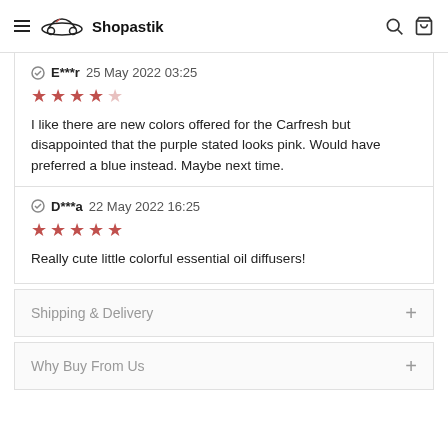Shopastik
E***r 25 May 2022 03:25 ★★★★☆ I like there are new colors offered for the Carfresh but disappointed that the purple stated looks pink. Would have preferred a blue instead. Maybe next time.
D***a 22 May 2022 16:25 ★★★★★ Really cute little colorful essential oil diffusers!
Shipping & Delivery +
Why Buy From Us +